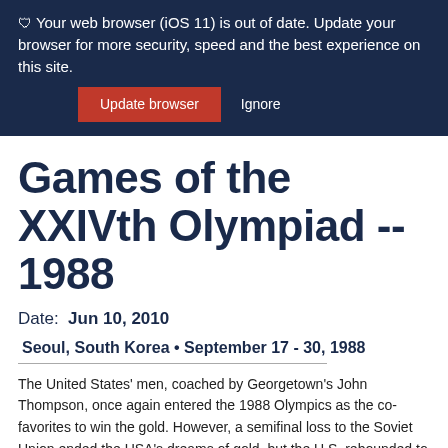🛡 Your web browser (iOS 11) is out of date. Update your browser for more security, speed and the best experience on this site. Update browser  Ignore
Games of the XXIVth Olympiad -- 1988
Date: Jun 10, 2010
Seoul, South Korea • September 17 - 30, 1988
The United States' men, coached by Georgetown's John Thompson, once again entered the 1988 Olympics as the co-favorites to win the gold. However, a semifinal loss to the Soviet Union ended the USA's dreams of gold, but the U.S. rebounded to win the bronze and finished with a respectable 7-1 record.
While the
1988 USA RESULTS (7-1)